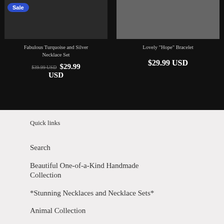[Figure (photo): Product photo of turquoise and silver necklace set with Sale badge, on dark background]
Fabulous Turquoise and Silver Necklace Set
$39.99 USD  $29.99 USD
[Figure (photo): Product photo of Hope bracelet in grayscale, on dark background]
Lovely "Hope" Bracelet
$29.99 USD
Quick links
Search
Beautiful One-of-a-Kind Handmade Collection
*Stunning Necklaces and Necklace Sets*
Animal Collection